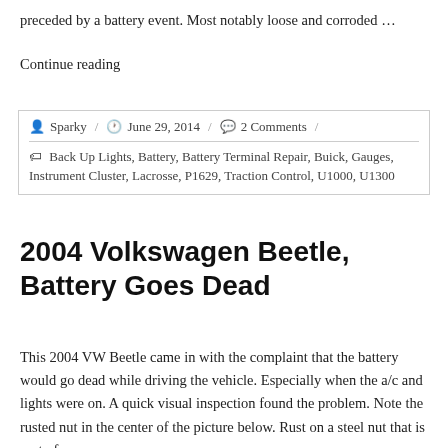preceded by a battery event. Most notably loose and corroded …
Continue reading
Sparky / June 29, 2014 / 2 Comments / Back Up Lights, Battery, Battery Terminal Repair, Buick, Gauges, Instrument Cluster, Lacrosse, P1629, Traction Control, U1000, U1300
2004 Volkswagen Beetle, Battery Goes Dead
This 2004 VW Beetle came in with the complaint that the battery would go dead while driving the vehicle. Especially when the a/c and lights were on. A quick visual inspection found the problem. Note the rusted nut in the center of the picture below. Rust on a steel nut that is part of a…